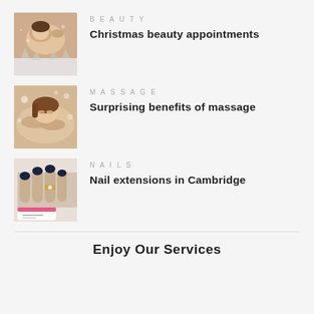BEAUTY — Christmas beauty appointments
MASSAGE — Surprising benefits of massage
NAILS — Nail extensions in Cambridge
Enjoy Our Services